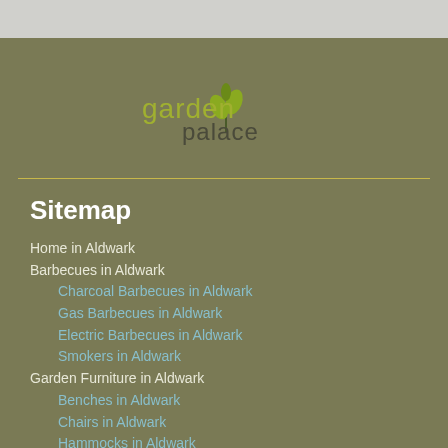[Figure (logo): Garden Palace logo with stylized plant/leaf icon and text 'garden palace' in olive green and dark grey]
Sitemap
Home in Aldwark
Barbecues in Aldwark
Charcoal Barbecues in Aldwark
Gas Barbecues in Aldwark
Electric Barbecues in Aldwark
Smokers in Aldwark
Garden Furniture in Aldwark
Benches in Aldwark
Chairs in Aldwark
Hammocks in Aldwark
Canopies in Aldwark